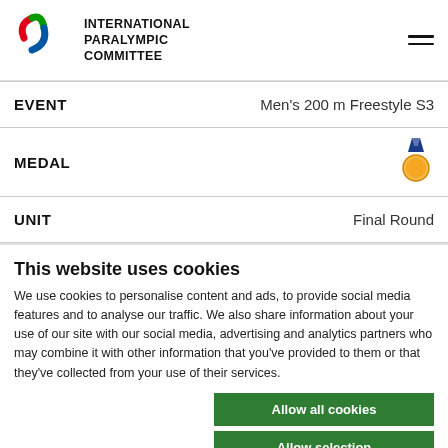INTERNATIONAL PARALYMPIC COMMITTEE
|  |  |
| --- | --- |
| EVENT | Men's 200 m Freestyle S3 |
| MEDAL | [gold medal icon] |
| UNIT | Final Round |
This website uses cookies
We use cookies to personalise content and ads, to provide social media features and to analyse our traffic. We also share information about your use of our site with our social media, advertising and analytics partners who may combine it with other information that you've provided to them or that they've collected from your use of their services.
Allow all cookies
Allow selection
Use necessary cookies only
Necessary | Preferences | Statistics | Show details
Marketing
RANK